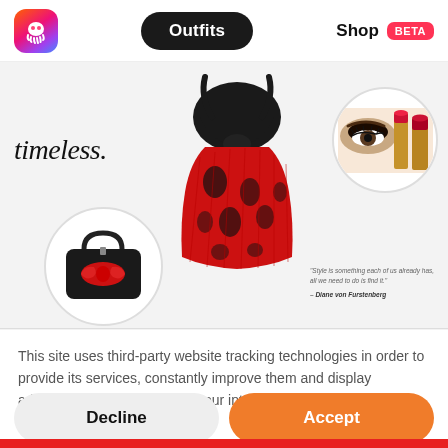[Figure (screenshot): App navigation bar with octopus logo, Outfits pill button (dark), Shop label with BETA badge]
[Figure (photo): Fashion outfit collage showing: 'timeless.' italic text, black crop top with red floral pleated skirt outfit, circular crop of makeup products (eye and lipstick), circular crop of black and red bow handbag, and a fashion quote by Diane von Furstenberg]
This site uses third-party website tracking technologies in order to provide its services, constantly improve them and display advertisements according to your interests.
Decline
Accept